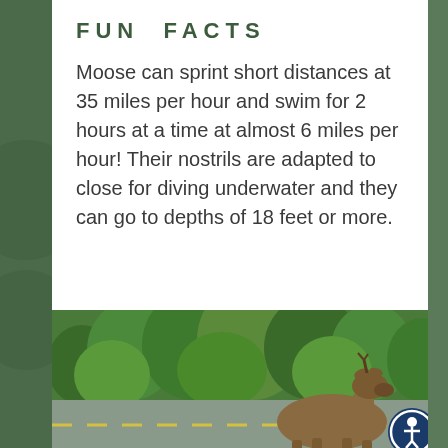FUN FACTS
Moose can sprint short distances at 35 miles per hour and swim for 2 hours at a time at almost 6 miles per hour! Their nostrils are adapted to close for diving underwater and they can go to depths of 18 feet or more.
[Figure (photo): A moose crossing a road with lush green trees in the background, viewed from behind/side angle. A circular accessibility icon is visible in the bottom right corner.]